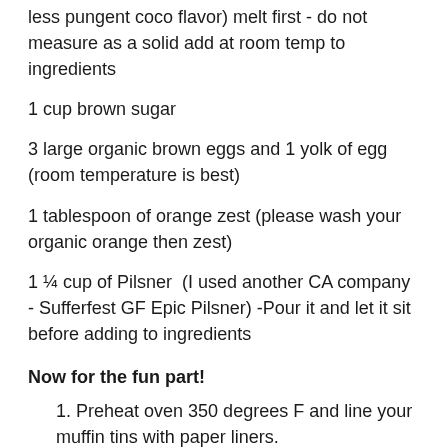less pungent coco flavor) melt first - do not measure as a solid add at room temp to ingredients
1 cup brown sugar
3 large organic brown eggs and 1 yolk of egg (room temperature is best)
1 tablespoon of orange zest (please wash your organic orange then zest)
1 ¼ cup of Pilsner  (I used another CA company - Sufferfest GF Epic Pilsner) -Pour it and let it sit before adding to ingredients
Now for the fun part!
Preheat oven 350 degrees F and line your muffin tins with paper liners.
Whisk together flours, baking soda, baking powder, salt, cinnamon, and nutmeg, Righteous Spice Cacao.
Prep Electric Mixer and on medium low speed, beat